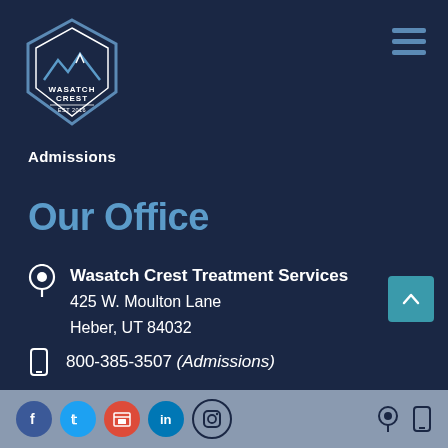[Figure (logo): Wasatch Crest logo - hexagon/shield shape with mountain icon, text WASATCH CREST EST 2016]
Admissions
Our Office
Wasatch Crest Treatment Services
425 W. Moulton Lane
Heber, UT 84032
800-385-3507 (Admissions)
[Figure (infographic): Footer bar with social media icons: Facebook, Twitter, Google+, LinkedIn, Instagram, plus location pin and phone icons on the right]